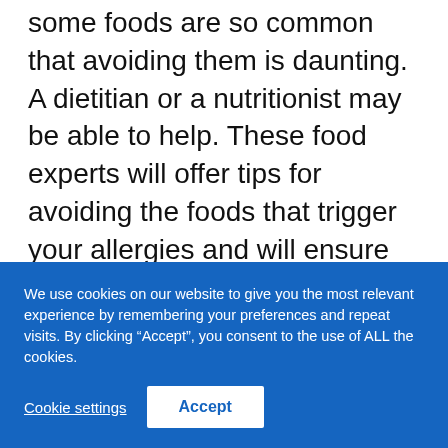some foods are so common that avoiding them is daunting. A dietitian or a nutritionist may be able to help. These food experts will offer tips for avoiding the foods that trigger your allergies and will ensure that even if you exclude certain foods from your diet, you still will be getting all the nutrients you need. Special cookbooks and support groups, either in person or online, for patients with specific allergies can also provide useful information.
Many people with food allergies wonder whether their
We use cookies on our website to give you the most relevant experience by remembering your preferences and repeat visits. By clicking "Accept", you consent to the use of ALL the cookies.
Cookie settings
Accept